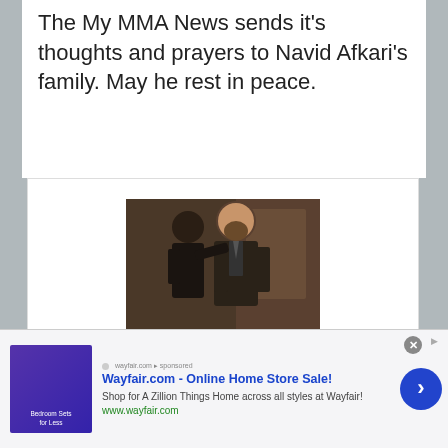The My MMA News sends it's thoughts and prayers to Navid Afkari's family. May he rest in peace.
[Figure (photo): Two men in suits, one appears to be adjusting the other's tie, photographed indoors]
Your friendly nei... many fights and m...
[Figure (photo): Video overlay showing a smiling woman with blonde hair at what appears to be a sports arena, with a navigation button]
[Figure (photo): Advertisement banner for Wayfair.com - Online Home Store Sale! Shop for A Zillion Things Home across all styles at Wayfair! www.wayfair.com]